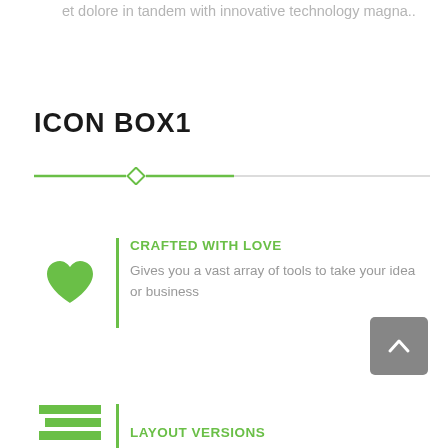et dolore in tandem with innovative technology magna..
ICON BOX1
[Figure (illustration): Decorative horizontal divider with a diamond/rhombus shape on the left side. Left portion is green, right portion is light gray.]
[Figure (illustration): Green heart icon]
CRAFTED WITH LOVE
Gives you a vast array of tools to take your idea or business
[Figure (illustration): Gray back-to-top arrow button (chevron up) in a rounded square]
[Figure (illustration): Green horizontal lines / layout icon]
LAYOUT VERSIONS